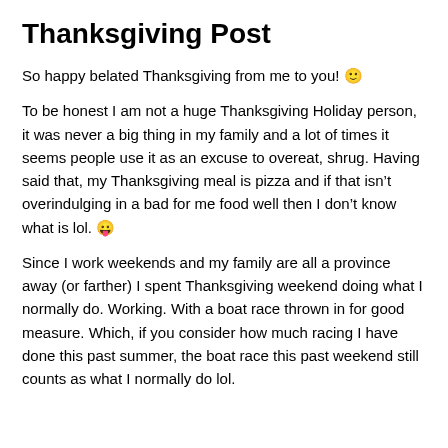Thanksgiving Post
So happy belated Thanksgiving from me to you! 🙂
To be honest I am not a huge Thanksgiving Holiday person, it was never a big thing in my family and a lot of times it seems people use it as an excuse to overeat, shrug. Having said that, my Thanksgiving meal is pizza and if that isn't overindulging in a bad for me food well then I don't know what is lol. 😛
Since I work weekends and my family are all a province away (or farther) I spent Thanksgiving weekend doing what I normally do. Working. With a boat race thrown in for good measure. Which, if you consider how much racing I have done this past summer, the boat race this past weekend still counts as what I normally do lol.